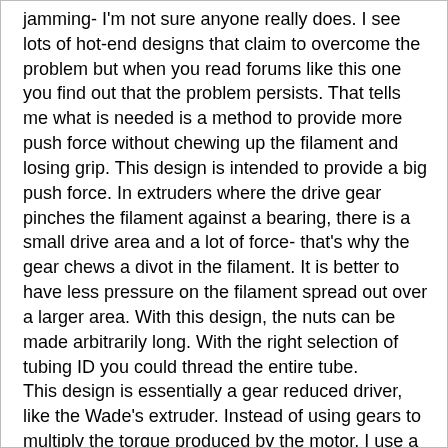jamming- I'm not sure anyone really does. I see lots of hot-end designs that claim to overcome the problem but when you read forums like this one you find out that the problem persists. That tells me what is needed is a method to provide more push force without chewing up the filament and losing grip. This design is intended to provide a big push force. In extruders where the drive gear pinches the filament against a bearing, there is a small drive area and a lot of force- that's why the gear chews a divot in the filament. It is better to have less pressure on the filament spread out over a larger area. With this design, the nuts can be made arbitrarily long. With the right selection of tubing ID you could thread the entire tube.
This design is essentially a gear reduced driver, like the Wade's extruder. Instead of using gears to multiply the torque produced by the motor, I use a nut that has the same effect. My green gears are the first gear and you can view the nut as the second gear (or is the filament the second gear?). For every rotation of the first gear the filament is only moved about 0.8mm.
Some conclusions and questions. You Not sure how...